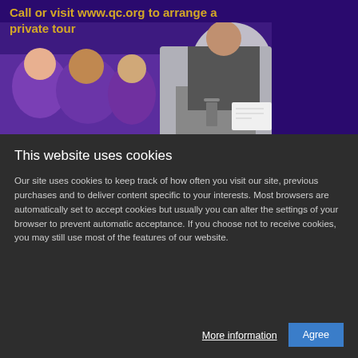[Figure (photo): School website screenshot showing students in purple uniforms grouped together and a student in a suit reviewing documents, with dark purple background and yellow text overlay reading 'Call or visit www.qc.org to arrange a private tour']
This website uses cookies
Our site uses cookies to keep track of how often you visit our site, previous purchases and to deliver content specific to your interests. Most browsers are automatically set to accept cookies but usually you can alter the settings of your browser to prevent automatic acceptance. If you choose not to receive cookies, you may still use most of the features of our website.
More information  Agree